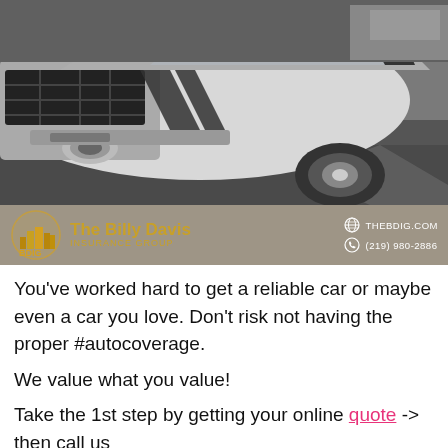[Figure (photo): Black and white close-up photograph of a high-performance sports car (white with black racing stripes) viewed from the front-side, parked on road pavement.]
[Figure (logo): The Billy Davis Insurance Group logo bar. Shows BDIG logo with city skyline icon, orange/gold text reading 'The Billy Davis INSURANCE GROUP'. Right side shows website THEBDIG.COM and phone (219) 980-2886 on a taupe/grey background.]
You've worked hard to get a reliable car or maybe even a car you love. Don't risk not having the proper #autocoverage.
We value what you value!
Take the 1st step by getting your online quote -> then call us